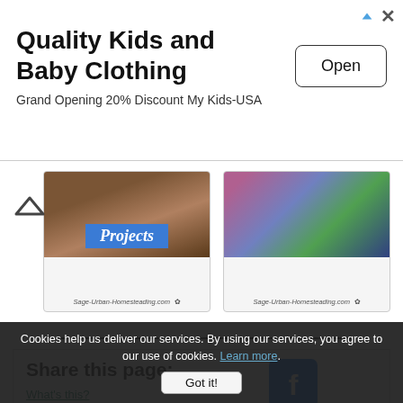[Figure (screenshot): Advertisement banner for Quality Kids and Baby Clothing with Open button]
Quality Kids and Baby Clothing
Grand Opening 20% Discount My Kids-USA
[Figure (photo): Two image cards from Sage-Urban-Homesteading.com showing Projects and a nature photo]
Share this page:
What's this?
[Figure (logo): Facebook logo icon (blue square with white f)]
Facebook
[Figure (logo): Twitter logo icon (blue square with white bird)]
Twitter
[Figure (logo): Pinterest logo icon (red square with white P)]
Cookies help us deliver our services. By using our services, you agree to our use of cookies. Learn more. Got it!